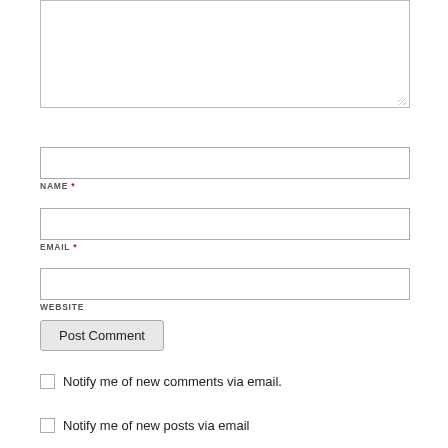[Figure (screenshot): A textarea input field (empty, with resize handle in bottom-right corner), a NAME text input field with asterisk label, an EMAIL text input field with asterisk label, a WEBSITE text input field, a Post Comment button, a checkbox with label 'Notify me of new comments via email.', and a partial checkbox row with label 'Notify me of new posts via email']
NAME *
EMAIL *
WEBSITE
Post Comment
Notify me of new comments via email.
Notify me of new posts via email